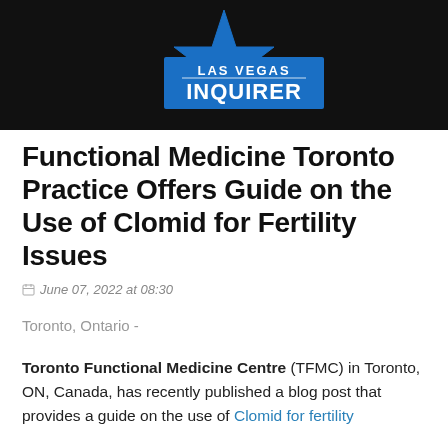[Figure (logo): Las Vegas Inquirer logo — blue star badge with white text 'LAS VEGAS' above 'INQUIRER' on dark background]
Functional Medicine Toronto Practice Offers Guide on the Use of Clomid for Fertility Issues
June 07, 2022 at 08:30
Toronto, Ontario -
Toronto Functional Medicine Centre (TFMC) in Toronto, ON, Canada, has recently published a blog post that provides a guide on the use of Clomid for fertility